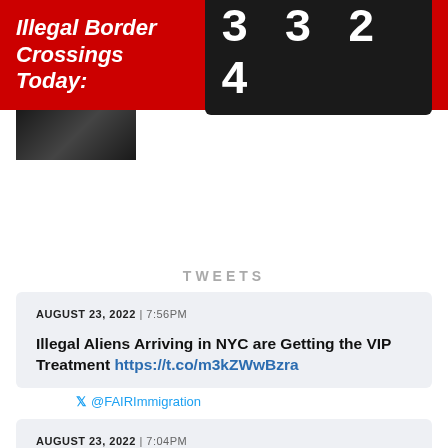Illegal Border Crossings Today: 3324
[Figure (photo): Dark thumbnail photo partially visible below header bar]
TWEETS
AUGUST 23, 2022 | 7:56PM
Illegal Aliens Arriving in NYC are Getting the VIP Treatment https://t.co/m3kZWwBzra
@FAIRImmigration
AUGUST 23, 2022 | 7:04PM